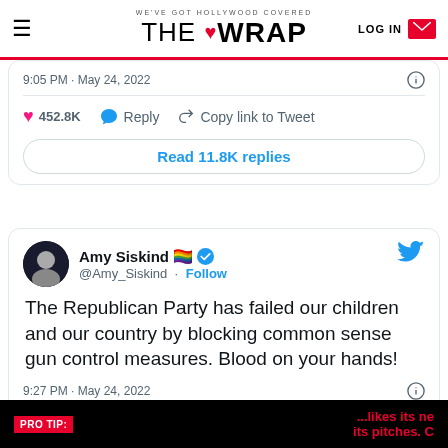WE'VE GOT HOLLYWOOD COVERED | THE WRAP | LOG IN
9:05 PM · May 24, 2022
452.8K  Reply  Copy link to Tweet
Read 11.8K replies
Amy Siskind 🏳️‍🌈 ✓ @Amy_Siskind · Follow
The Republican Party has failed our children and our country by blocking common sense gun control measures. Blood on your hands!
9:27 PM · May 24, 2022
PRO TIP: ...likes its ne its pitches. C